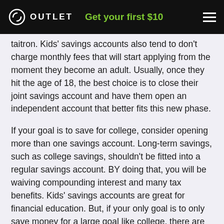OUTLET — Get your first $10
taitron. Kids' savings accounts also tend to don't charge monthly fees that will start applying from the moment they become an adult. Usually, once they hit the age of 18, the best choice is to close their joint savings account and have them open an independent account that better fits this new phase.
If your goal is to save for college, consider opening more than one savings account. Long-term savings, such as college savings, shouldn't be fitted into a regular savings account. BY doing that, you will be waiving compounding interest and many tax benefits. Kids' savings accounts are great for financial education. But, if your only goal is to only save money for a large goal like college, there are